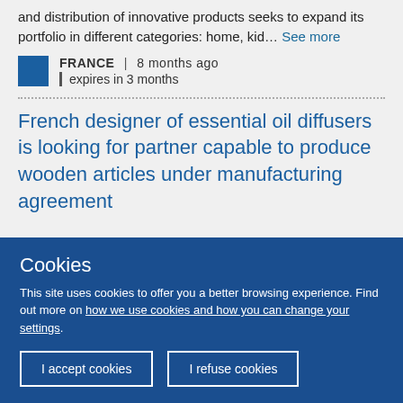and distribution of innovative products seeks to expand its portfolio in different categories: home, kid… See more
FRANCE | 8 months ago | expires in 3 months
French designer of essential oil diffusers is looking for partner capable to produce wooden articles under manufacturing agreement
Cookies
This site uses cookies to offer you a better browsing experience. Find out more on how we use cookies and how you can change your settings.
I accept cookies
I refuse cookies